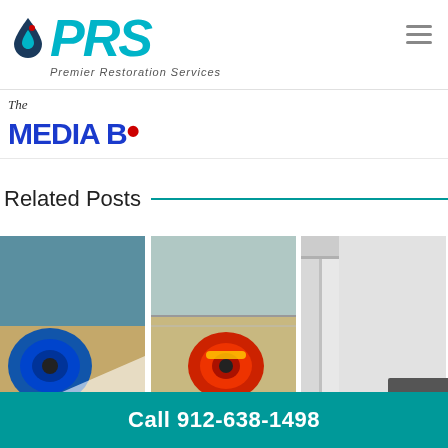[Figure (logo): PRS Premier Restoration Services logo with water drop icon and teal/navy text]
[Figure (logo): The Media B[uzz] logo partially visible, blue text with red dot]
Related Posts
[Figure (photo): Blue air mover fan on wooden floor against teal wall]
[Figure (photo): Red and yellow air mover fan on tile floor in corner]
[Figure (photo): Door frame or wall corner, light gray walls]
Call 912-638-1498